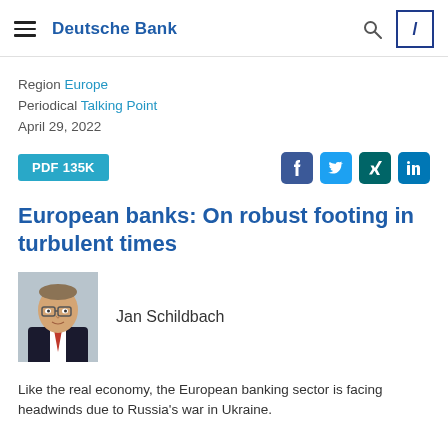Deutsche Bank
Region Europe
Periodical Talking Point
April 29, 2022
PDF 135K
European banks: On robust footing in turbulent times
[Figure (photo): Headshot photo of Jan Schildbach, a man wearing glasses and a dark suit with red tie]
Jan Schildbach
Like the real economy, the European banking sector is facing headwinds due to Russia's war in Ukraine.